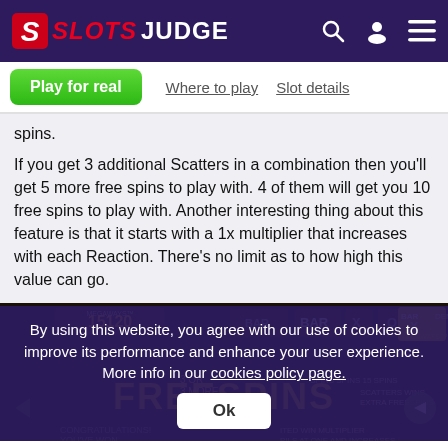SlotsJudge
Play for real | Where to play | Slot details
spins.
If you get 3 additional Scatters in a combination then you'll get 5 more free spins to play with. 4 of them will get you 10 free spins to play with. Another interesting thing about this feature is that it starts with a 1x multiplier that increases with each Reaction. There's no limit as to how high this value can go.
[Figure (screenshot): Game screenshot of Bar X Megaways slot showing FREESPINS bonus screen with MEGAWAYS counter 15120, BAR symbols, and CONGRATULATIONS YOU'VE WON text]
By using this website, you agree with our use of cookies to improve its performance and enhance your user experience. More info in our cookies policy page.